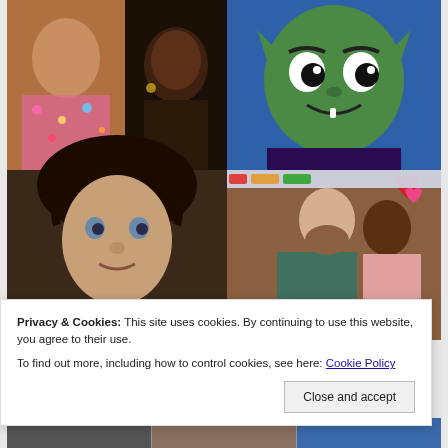[Figure (photo): Grid of photos: top-left shows two women (one in floral outfit, one dark-skinned woman), top-right shows animated green cartoon character (Beast Boy), bottom-left shows Elijah Wood as Frodo in Lord of the Rings, bottom-right shows a couple (man in teal suit, woman in pink) with heart emojis overlay]
Privacy & Cookies: This site uses cookies. By continuing to use this website, you agree to their use.
To find out more, including how to control cookies, see here: Cookie Policy
Close and accept